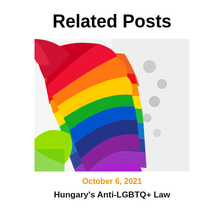Related Posts
[Figure (photo): A rainbow pride flag waving, showing red, orange, yellow, green, blue, and purple stripes, with a blurred white background featuring dark circular bokeh shapes]
October 6, 2021
Hungary's Anti-LGBTQ+ Law